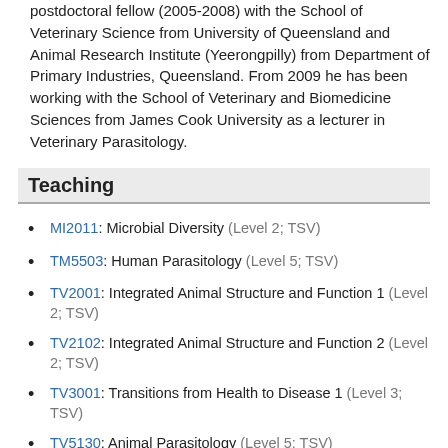postdoctoral fellow (2005-2008) with the School of Veterinary Science from University of Queensland and Animal Research Institute (Yeerongpilly) from Department of Primary Industries, Queensland. From 2009 he has been working with the School of Veterinary and Biomedicine Sciences from James Cook University as a lecturer in Veterinary Parasitology.
Teaching
MI2011: Microbial Diversity (Level 2; TSV)
TM5503: Human Parasitology (Level 5; TSV)
TV2001: Integrated Animal Structure and Function 1 (Level 2; TSV)
TV2102: Integrated Animal Structure and Function 2 (Level 2; TSV)
TV3001: Transitions from Health to Disease 1 (Level 3; TSV)
TV5130: Animal Parasitology (Level 5; TSV)
TV5211: Veterinary Professional and Clinical Practice 1/3 (Level 5; TSV)
TV5212: Veterinary Professional and Clinical Practice 2/3 (Level 5; TSV)